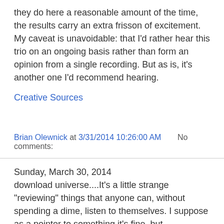they do here a reasonable amount of the time, the results carry an extra frisson of excitement. My caveat is unavoidable: that I'd rather hear this trio on an ongoing basis rather than form an opinion from a single recording. But as is, it's another one I'd recommend hearing.
Creative Sources
Brian Olewnick at 3/31/2014 10:26:00 AM    No comments:
Sunday, March 30, 2014
download universe....It's a little strange "reviewing" things that anyone can, without spending a dime, listen to themselves. I suppose as a pointer to something it's fine, but still...Luddite about some things... also find that I'm sent, via links, many more things that fall well outside my range of interest than occurs with physical items that reach my